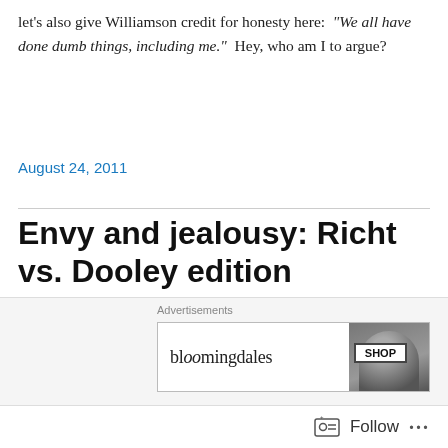let's also give Williamson credit for honesty here: “We all have done dumb things, including me.”  Hey, who am I to argue?
August 24, 2011
Envy and jealousy: Richt vs. Dooley edition
Matt Hayes, comparing Georgia’s and Tennessee’s prospects for improvement this season, neatly ties together several themes we’ve discussed here:
[Figure (other): Bloomingdale's advertisement banner with logo and fashion photo, with SHOP button]